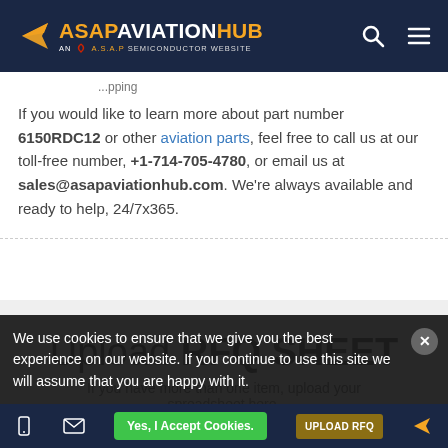ASAP AVIATION HUB — AN A.S.A.P SEMICONDUCTOR WEBSITE
If you would like to learn more about part number 6150RDC12 or other aviation parts, feel free to call us at our toll-free number, +1-714-705-4780, or email us at sales@asapaviationhub.com. We're always available and ready to help, 24/7x365.
Upload RFQ SHEET
If you have more than one item, upload your spreadsheet here.
We use cookies to ensure that we give you the best experience on our website. If you continue to use this site we will assume that you are happy with it.
Yes, I Accept Cookies.